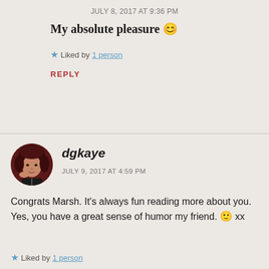JULY 8, 2017 AT 9:36 PM
My absolute pleasure 😊
★ Liked by 1 person
REPLY
[Figure (photo): Circular avatar photo of a woman with dark red hair, hand near face, wearing a striped top]
dgkaye
JULY 9, 2017 AT 4:59 PM
Congrats Marsh. It's always fun reading more about you. Yes, you have a great sense of humor my friend. 🙂 xx
★ Liked by 1 person